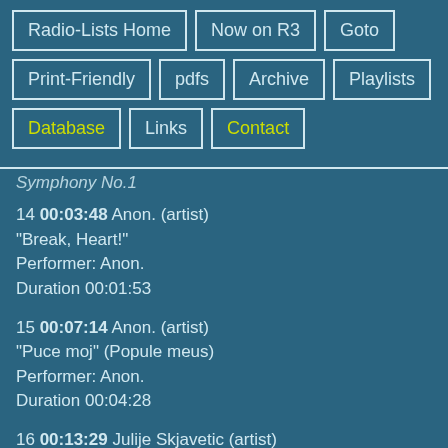Radio-Lists Home
Now on R3
Goto
Print-Friendly
pdfs
Archive
Playlists
Database
Links
Contact
Symphony No.1
14 00:03:48 Anon. (artist)
"Break, Heart!"
Performer: Anon.
Duration 00:01:53
15 00:07:14 Anon. (artist)
"Puce moj" (Popule meus)
Performer: Anon.
Duration 00:04:28
16 00:13:29 Julije Skjavetic (artist)
Pater noster
Performer: Julije Skjavetic
Duration 00:03:44